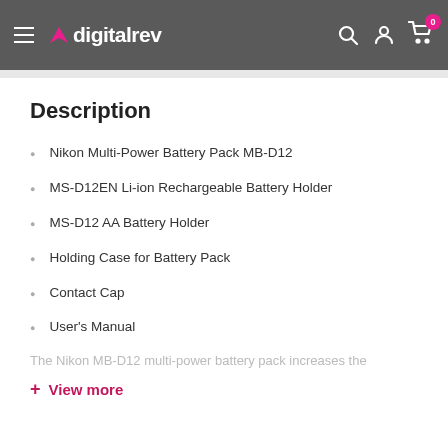digitalrev
Description
Nikon Multi-Power Battery Pack MB-D12
MS-D12EN Li-ion Rechargeable Battery Holder
MS-D12 AA Battery Holder
Holding Case for Battery Pack
Contact Cap
User's Manual
The Nikon MB-D12 multi-power battery pack increases the
+ View more